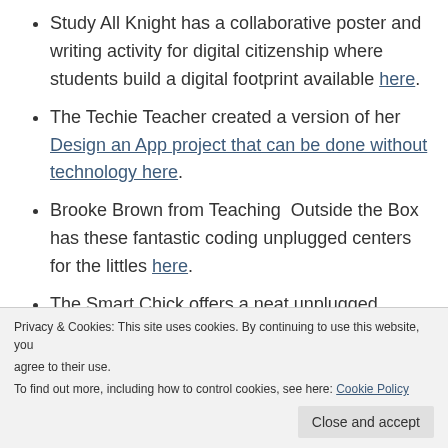Study All Knight has a collaborative poster and writing activity for digital citizenship where students build a digital footprint available here.
The Techie Teacher created a version of her Design an App project that can be done without technology here.
Brooke Brown from Teaching Outside the Box has these fantastic coding unplugged centers for the littles here.
The Smart Chick offers a neat unplugged
Privacy & Cookies: This site uses cookies. By continuing to use this website, you agree to their use. To find out more, including how to control cookies, see here: Cookie Policy
Close and accept
technology.